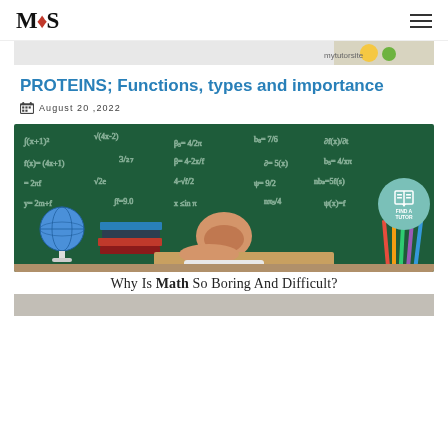MTS (logo) — hamburger menu
[Figure (photo): Partial top image strip showing food/objects on light background]
PROTEINS; Functions, types and importance
August 20 ,2022
[Figure (photo): Photo of a child asleep on a desk in front of a green chalkboard covered with math equations, with a globe and stack of books. A teal circle badge reads FIND A TUTOR.]
Why Is Math So Boring And Difficult?
[Figure (photo): Bottom portion of another image, partially visible]